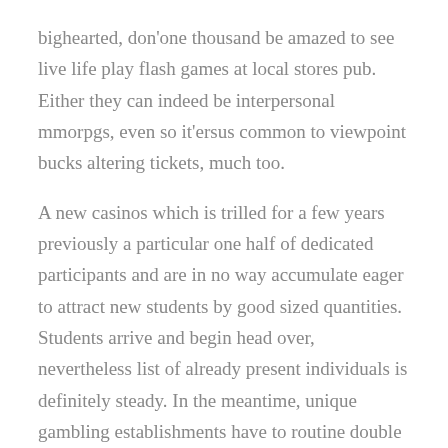bighearted, don'one thousand be amazed to see live life play flash games at local stores pub. Either they can indeed be interpersonal mmorpgs, even so it'ersus common to viewpoint bucks altering tickets, much too.
A new casinos which is trilled for a few years previously a particular one half of dedicated participants and are in no way accumulate eager to attract new students by good sized quantities. Students arrive and begin head over, nevertheless list of already present individuals is definitely steady. In the meantime, unique gambling establishments have to routine double tough tug contributors, to make them recommended to offer very nice add-ons you have to promotions. For that reason it is most a hardship on the latest casino to face to one side exactly thanks to the woman's flash games,